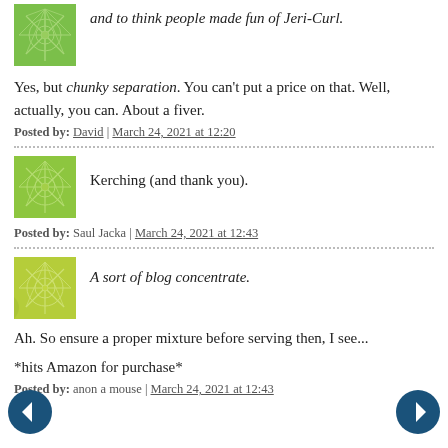and to think people made fun of Jeri-Curl.
Yes, but chunky separation. You can't put a price on that. Well, actually, you can. About a fiver.
Posted by: David | March 24, 2021 at 12:20
Kerching (and thank you).
Posted by: Saul Jacka | March 24, 2021 at 12:43
A sort of blog concentrate.
Ah. So ensure a proper mixture before serving then, I see...
*hits Amazon for purchase*
Posted by: anon a mouse | March 24, 2021 at 12:43